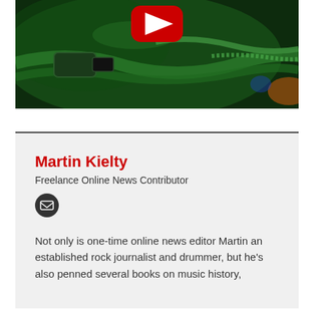[Figure (screenshot): YouTube video thumbnail showing green-lit cables/equipment with a red YouTube play button overlay]
Martin Kielty
Freelance Online News Contributor
Not only is one-time online news editor Martin an established rock journalist and drummer, but he's also penned several books on music history,